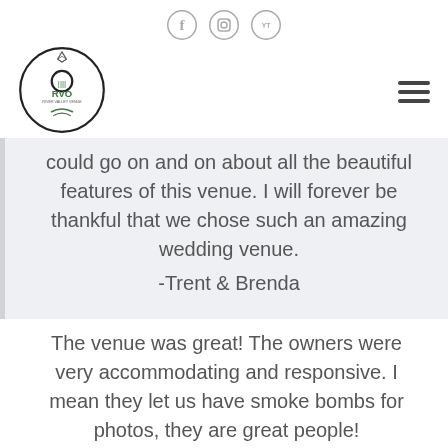Social media icons: Facebook, Instagram, YouTube
[Figure (logo): RVO River Valley Venue logo — circular design with diamond ring, trees and river, text RVO in green]
could go on and on about all the beautiful features of this venue. I will forever be thankful that we chose such an amazing wedding venue.
-Trent & Brenda
The venue was great! The owners were very accommodating and responsive. I mean they let us have smoke bombs for photos, they are great people! Unfortunately, it was the